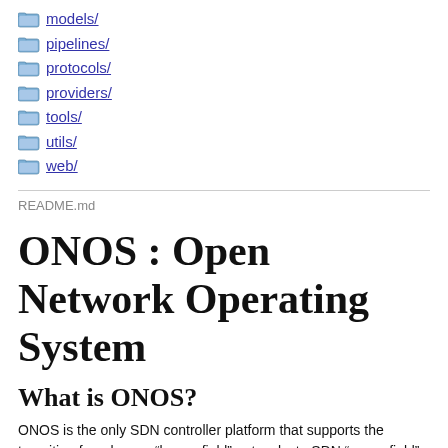models/
pipelines/
protocols/
providers/
tools/
utils/
web/
README.md
ONOS : Open Network Operating System
What is ONOS?
ONOS is the only SDN controller platform that supports the transition from legacy “brown field” networks to SDN “green field” networks. This enables exciting new capabilities, and